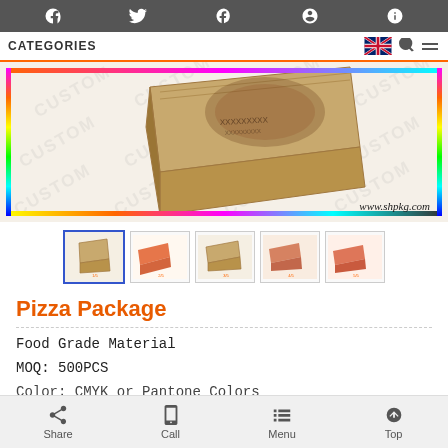CATEGORIES
[Figure (photo): Pizza box packaging product photo with rainbow border and CUSTOM watermarks, website www.shpkg.com]
[Figure (photo): Row of 5 product thumbnail images showing pizza box packaging from different angles]
Pizza Package
Food Grade Material
MOQ: 500PCS
Color: CMYK or Pantone Colors
Share  Call  Menu  Top